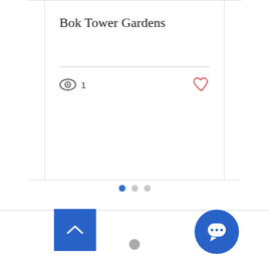Bok Tower Gardens
[Figure (screenshot): Card UI showing title 'Bok Tower Gardens' with an eye/view icon showing count 1, a red heart/like icon, and a horizontal divider line]
[Figure (infographic): Pagination dots: three dots, first (leftmost) is blue/active, second and third are gray/inactive]
[Figure (infographic): A small gray circle indicating a loading spinner or empty state]
[Figure (infographic): Blue square back-to-top button with white upward chevron arrow]
[Figure (infographic): Blue circular chat/message button with white speech bubble icon]